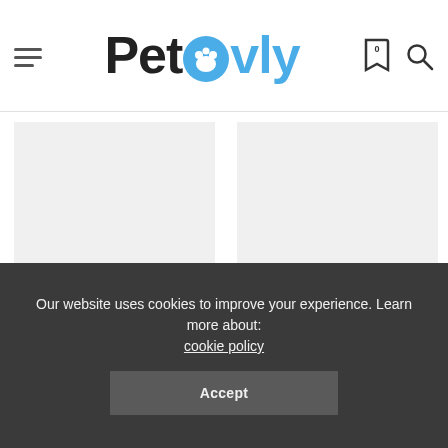Petovly
[Figure (other): Empty image placeholder for Cat Attacked By Bird article]
Cat Attacked By Bird – Prevent This Situation
[Figure (other): Empty image placeholder for Cat Traumatized After Fight article]
Cat Traumatized After Fight – Symptoms And Treatment
Our website uses cookies to improve your experience. Learn more about: cookie policy
Accept